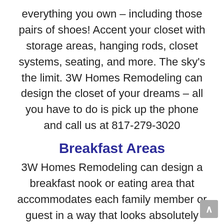everything you own – including those pairs of shoes! Accent your closet with storage areas, hanging rods, closet systems, seating, and more. The sky's the limit. 3W Homes Remodeling can design the closet of your dreams – all you have to do is pick up the phone and call us at 817-279-3020
Breakfast Areas
3W Homes Remodeling can design a breakfast nook or eating area that accommodates each family member or guest in a way that looks absolutely stunning. You don't have to eat in a cramped, less-than-ideal space in your home. Let 3W Homes design a gorgeous breakfast area to accommodate you and your loved ones in style.